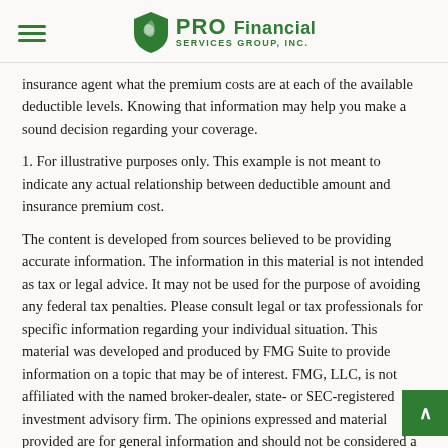PRO Financial Services Group, Inc.
insurance agent what the premium costs are at each of the available deductible levels. Knowing that information may help you make a sound decision regarding your coverage.
1. For illustrative purposes only. This example is not meant to indicate any actual relationship between deductible amount and insurance premium cost.
The content is developed from sources believed to be providing accurate information. The information in this material is not intended as tax or legal advice. It may not be used for the purpose of avoiding any federal tax penalties. Please consult legal or tax professionals for specific information regarding your individual situation. This material was developed and produced by FMG Suite to provide information on a topic that may be of interest. FMG, LLC, is not affiliated with the named broker-dealer, state- or SEC-registered investment advisory firm. The opinions expressed and material provided are for general information and should not be considered a solicitation for the purchase or sale of any security. Copyright 2022 FMG Suite.